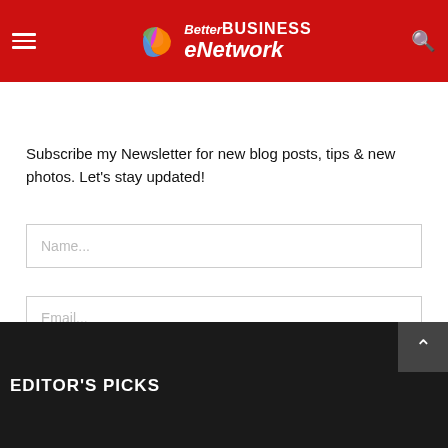Better BUSINESS eNetwork
Subscribe
Subscribe my Newsletter for new blog posts, tips & new photos. Let's stay updated!
Name...
Email...
SUBSCRIBE
EDITOR'S PICKS